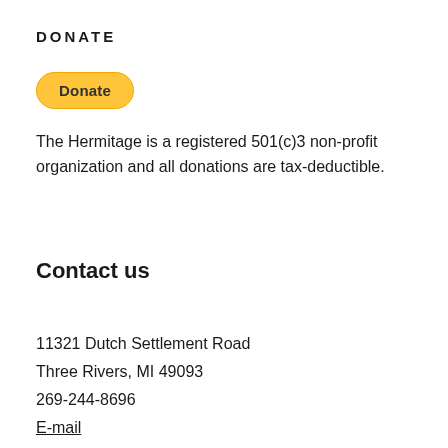DONATE
[Figure (other): PayPal Donate button — yellow rounded rectangle with bold text 'Donate']
The Hermitage is a registered 501(c)3 non-profit organization and all donations are tax-deductible.
Contact us
11321 Dutch Settlement Road
Three Rivers, MI 49093
269-244-8696
E-mail